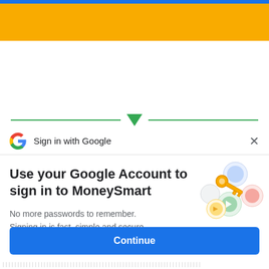[Figure (screenshot): Yellow and blue top bar of the MoneySmart website]
[Figure (illustration): Green horizontal divider lines with a downward-pointing green triangle arrow in the center]
Sign in with Google  ×
Use your Google Account to sign in to MoneySmart
No more passwords to remember. Signing in is fast, simple and secure.
[Figure (illustration): Colorful Google key illustration with circles and a golden key]
Continue